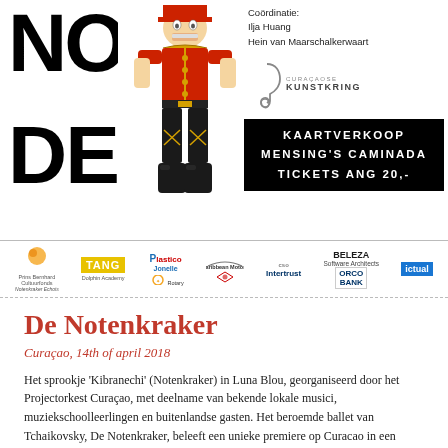[Figure (photo): Poster for De Notenkraker (The Nutcracker) showing large block letters 'NOT' and 'DE' on the left, a nutcracker soldier figurine in the center, coordination credits for Ilja Huang and Hein van Maarschalkerwaart, a Curaçaose Kunstkring music logo, and a black box reading KAARTVERKOOP MENSING'S CAMINADA TICKETS ANG 20,-]
[Figure (logo): Sponsors bar with logos: Prins Bernhard Cultuurfonds, Tang, Plastico Jonelle, Dolphin Academy, Caribbean Motors, Rotary Club Hiltonstad, Intertrust, Beleza Software Architects, RadioEas, ORCO BANK, ictual]
De Notenkraker
Curaçao, 14th of april 2018
Het sprookje 'Kibranechi' (Notenkraker) in Luna Blou, georganiseerd door het Projectorkest Curaçao, met deelname van bekende lokale musici, muziekschoolleerlingen en buitenlandse gasten. Het beroemde ballet van Tchaikovsky, De Notenkraker, beleeft een unieke premiere op Curacao in een bewerking tot tweetalig muziektheater. Gouden Griffel winnares Imme Dros en Gouden Penseel winnaar Harrie Geelen hebben toestemming